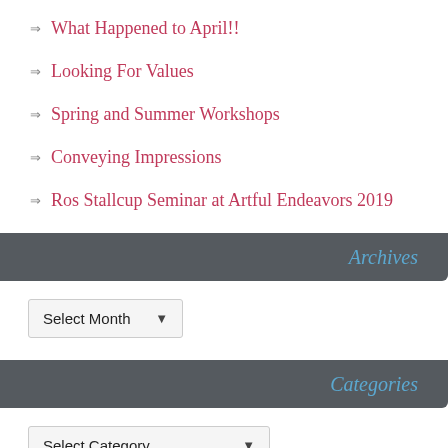What Happened to April!!
Looking For Values
Spring and Summer Workshops
Conveying Impressions
Ros Stallcup Seminar at Artful Endeavors 2019
Archives
Select Month
Categories
Select Category